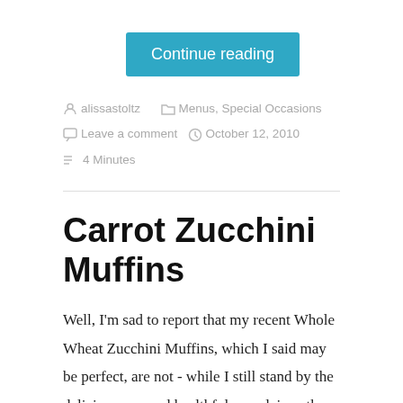Continue reading
alissastoltz   Menus, Special Occasions   Leave a comment   October 12, 2010   4 Minutes
Carrot Zucchini Muffins
Well, I'm sad to report that my recent Whole Wheat Zucchini Muffins, which I said may be perfect, are not - while I still stand by the deliciousness and healthfulness claims, they have the fatal flaw of being completely rejected by the munchkin.  And while hubby thought it